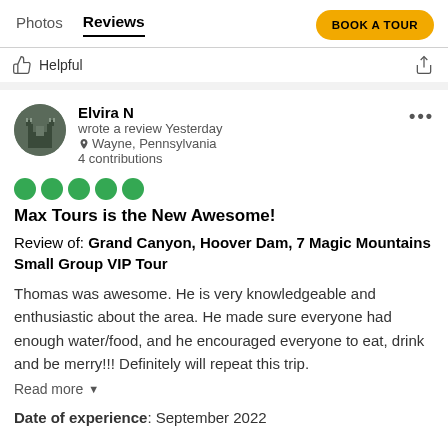Photos  Reviews  BOOK A TOUR
Helpful
Elvira N
wrote a review Yesterday
Wayne, Pennsylvania
4 contributions
[Figure (other): 5 green filled circles representing a 5-star rating]
Max Tours is the New Awesome!
Review of: Grand Canyon, Hoover Dam, 7 Magic Mountains Small Group VIP Tour
Thomas was awesome. He is very knowledgeable and enthusiastic about the area. He made sure everyone had enough water/food, and he encouraged everyone to eat, drink and be merry!!! Definitely will repeat this trip.
Read more
Date of experience: September 2022